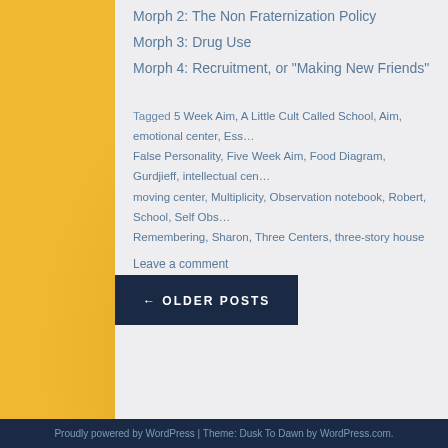Morph 2: The Non Fraternization Policy
Morph 3: Drug Use
Morph 4: Recruitment, or "Making New Friends"
Tagged 5 Week Aim, A Little Cult Called School, Aim, emotional center, Ess… False Personality, Five Week Aim, Food Diagram, Gurdjieff, intellectual cen… moving center, Multiplicity, Observation notebook, Robert, School, Self Obs… Remembering, Sharon, Three Centers, three-story house
Leave a comment
← OLDER POSTS
Proudly powered by WordPress | Theme: Dusk To Dawn by WordPress.com.